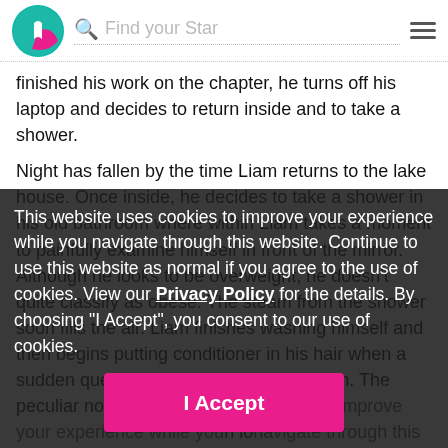[Figure (logo): Wattpad-style app logo: teal and pink circular icon with a chat/book symbol]
Find your Star
finished his work on the chapter, he turns off his laptop and decides to return inside and to take a shower.
Night has fallen by the time Liam returns to the lake house. Once inside, he decides to take a shower in his old bathroom where within Liam takes a moment to painfully examine himself in front of the mirror. Although he looks to be overweight, he doesn't quite classify as obese. The steam from the shower soon fills the air. Liam finishes washing himself and then begins putting conditioner in his hair when a sudden queer sound catches his attention. The peculiar no... lc... b... ick... rotting eggs forcing Liam to g...ough in disgust. With something obviously being wrong with the water, Liam shuts off the shower as quick as he ca...wildered, Liam attempts to get out only to slip and fall inside the tub.
This website uses cookies to improve your experience while you navigate through this website. Continue to use this website as normal if you agree to the use of cookies. View our Privacy Policy for the details. By choosing "I Accept", you consent to our use of cookies.
I Accept